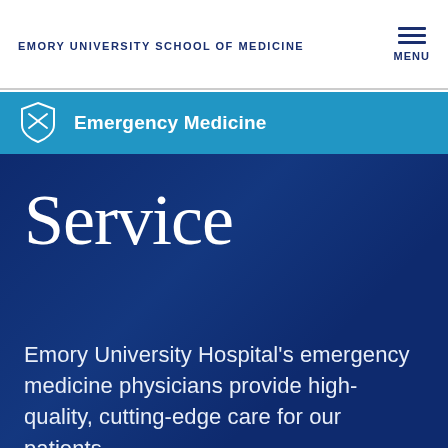EMORY UNIVERSITY SCHOOL OF MEDICINE
Emergency Medicine
Service
Emory University Hospital's emergency medicine physicians provide high-quality, cutting-edge care for our patients.